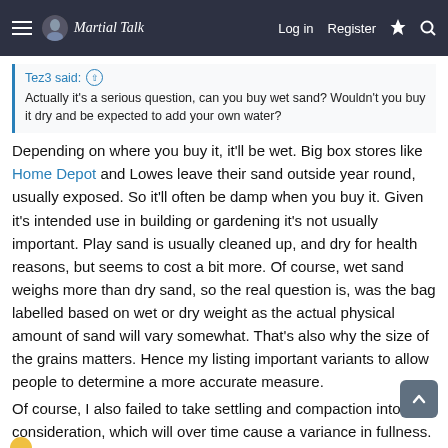Martial Talk — Log in  Register
Tez3 said:
Actually it's a serious question, can you buy wet sand? Wouldn't you buy it dry and be expected to add your own water?
Depending on where you buy it, it'll be wet. Big box stores like Home Depot and Lowes leave their sand outside year round, usually exposed. So it'll often be damp when you buy it. Given it's intended use in building or gardening it's not usually important. Play sand is usually cleaned up, and dry for health reasons, but seems to cost a bit more. Of course, wet sand weighs more than dry sand, so the real question is, was the bag labelled based on wet or dry weight as the actual physical amount of sand will vary somewhat. That's also why the size of the grains matters. Hence my listing important variants to allow people to determine a more accurate measure.
Of course, I also failed to take settling and compaction into consideration, which will over time cause a variance in fullness.